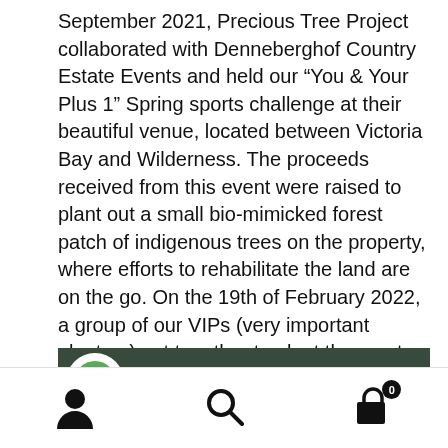September 2021, Precious Tree Project collaborated with Denneberghof Country Estate Events and held our “You & Your Plus 1” Spring sports challenge at their beautiful venue, located between Victoria Bay and Wilderness. The proceeds received from this event were raised to plant out a small bio-mimicked forest patch of indigenous trees on the property, where efforts to rehabilitate the land are on the go. On the 19th of February 2022, a group of our VIPs (very important planters) got together to plant them out. The ownership now rests with the landowners to maintain them carefully until they have taken root.
[Figure (screenshot): Partial banner image showing Precious Tree Project logo on dark green background with text 'PRECIOUS TREE' visible on the right side]
Navigation bar with user icon, search icon, and shopping cart icon with badge showing 0